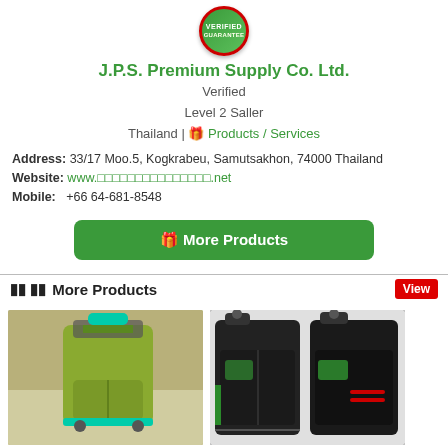[Figure (logo): Verified Guarantee badge - circular green and red badge]
J.P.S. Premium Supply Co. Ltd.
Verified
Level 2 Saller
Thailand | Products / Services
Address: 33/17 Moo.5, Kogkrabeu, Samutsakhon, 74000 Thailand
Website: www.□□□□□□□□□□□□□□□.net
Mobile:   +66 64-681-8548
More Products
More Products
[Figure (photo): Green and yellow children's wheeled school bag/trolley backpack on tiled floor]
[Figure (photo): Black and green luggage bags/suitcases with handles shown from back]